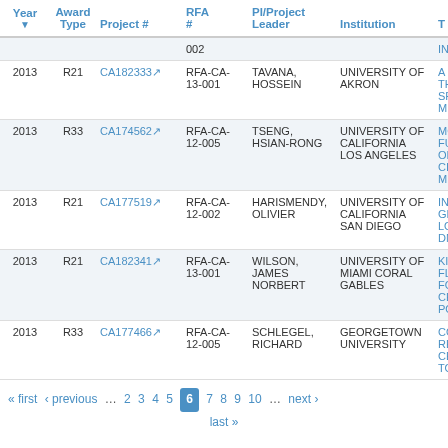| Year | Award Type | Project # | RFA # | PI/Project Leader | Institution | T |
| --- | --- | --- | --- | --- | --- | --- |
|  |  |  | 002 |  |  | IN |
| 2013 | R21 | CA182333 | RFA-CA-13-001 | TAVANA, HOSSEIN | UNIVERSITY OF AKRON | A N TH SP MI |
| 2013 | R33 | CA174562 | RFA-CA-12-005 | TSENG, HSIAN-RONG | UNIVERSITY OF CALIFORNIA LOS ANGELES | MO FU OP CI ME |
| 2013 | R21 | CA177519 | RFA-CA-12-002 | HARISMENDY, OLIVIER | UNIVERSITY OF CALIFORNIA SAN DIEGO | IN GE LO DN |
| 2013 | R21 | CA182341 | RFA-CA-13-001 | WILSON, JAMES NORBERT | UNIVERSITY OF MIAMI CORAL GABLES | KI FL FO CE PO |
| 2013 | R33 | CA177466 | RFA-CA-12-005 | SCHLEGEL, RICHARD | GEORGETOWN UNIVERSITY | CO RE CE TO |
« first ‹ previous … 2 3 4 5 6 7 8 9 10 … next › last »